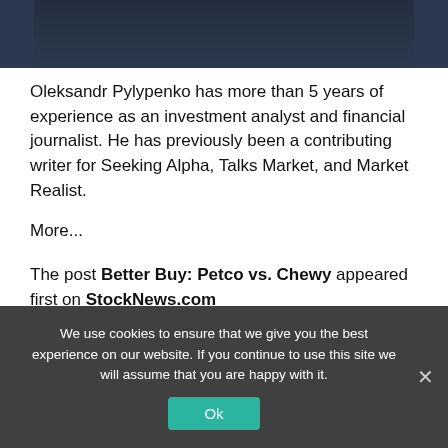[Figure (photo): Partial photo of a person in a dark suit, cropped at the bottom showing shoulders and jacket]
Oleksandr Pylypenko has more than 5 years of experience as an investment analyst and financial journalist. He has previously been a contributing writer for Seeking Alpha, Talks Market, and Market Realist.
More...
The post Better Buy: Petco vs. Chewy appeared first on StockNews.com
We use cookies to ensure that we give you the best experience on our website. If you continue to use this site we will assume that you are happy with it.